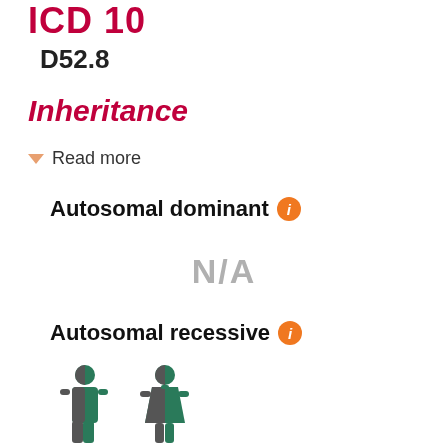ICD 10
D52.8
Inheritance
Read more
Autosomal dominant
N/A
Autosomal recessive
[Figure (illustration): Two human figures (male and female) half-colored in teal/green representing autosomal recessive inheritance carriers]